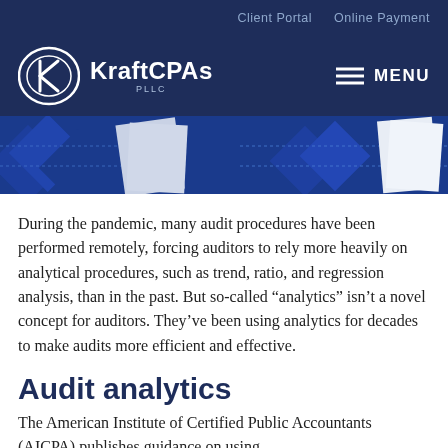Client Portal   Online Payment
[Figure (logo): KraftCPAs PLLC logo with oval K emblem and company name, white on dark navy background, with hamburger menu icon and MENU text on right]
[Figure (photo): Decorative banner image with blue geometric patterns and white paper documents, partial view]
During the pandemic, many audit procedures have been performed remotely, forcing auditors to rely more heavily on analytical procedures, such as trend, ratio, and regression analysis, than in the past. But so-called “analytics” isn’t a novel concept for auditors. They’ve been using analytics for decades to make audits more efficient and effective.
Audit analytics
The American Institute of Certified Public Accountants (AICPA) publishes guidance on using